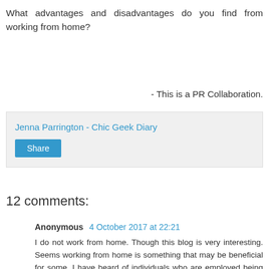What advantages and disadvantages do you find from working from home?
- This is a PR Collaboration.
Jenna Parrington - Chic Geek Diary
Share
12 comments:
Anonymous
4 October 2017 at 22:21
I do not work from home. Though this blog is very interesting. Seems working from home is something that may be beneficial for some. I have heard of individuals who are employed being able to work from home on occasions :- These people have worked for Bank, or been in Management within the National Health Service. I would expect that the work they were doing would be via